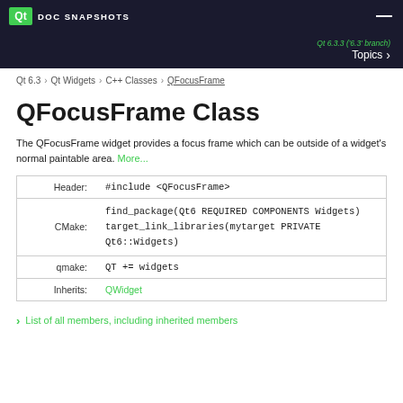Qt DOC SNAPSHOTS
Qt 6.3.3 ('6.3' branch)  Topics
Qt 6.3 > Qt Widgets > C++ Classes > QFocusFrame
QFocusFrame Class
The QFocusFrame widget provides a focus frame which can be outside of a widget's normal paintable area. More...
|  |  |
| --- | --- |
| Header: | #include <QFocusFrame> |
| CMake: | find_package(Qt6 REQUIRED COMPONENTS Widgets)
target_link_libraries(mytarget PRIVATE Qt6::Widgets) |
| qmake: | QT += widgets |
| Inherits: | QWidget |
List of all members, including inherited members